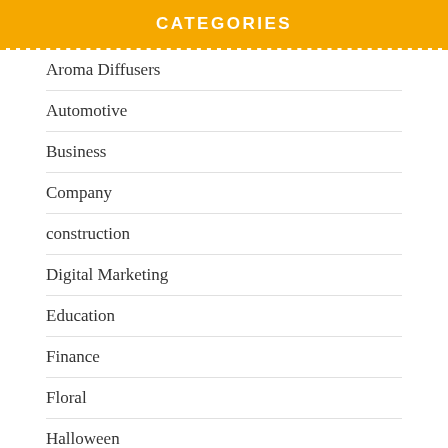CATEGORIES
Aroma Diffusers
Automotive
Business
Company
construction
Digital Marketing
Education
Finance
Floral
Halloween
Health
Home